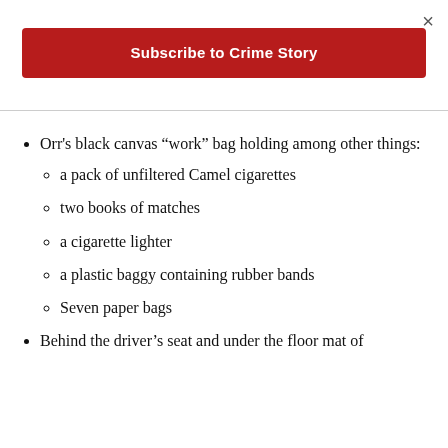×
Subscribe to Crime Story
Orr's black canvas “work” bag holding among other things:
a pack of unfiltered Camel cigarettes
two books of matches
a cigarette lighter
a plastic baggy containing rubber bands
Seven paper bags
Behind the driver’s seat and under the floor mat of